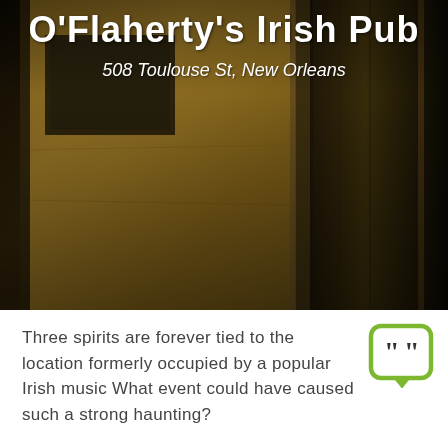[Figure (photo): Interior corridor/hallway of O'Flaherty's Irish Pub in New Orleans, showing aged golden-brown walls, dark wooden door frames, and dim atmospheric lighting]
O'Flaherty's Irish Pub
508 Toulouse St, New Orleans
Three spirits are forever tied to the location formerly occupied by a popular Irish music What event could have caused such a strong haunting?